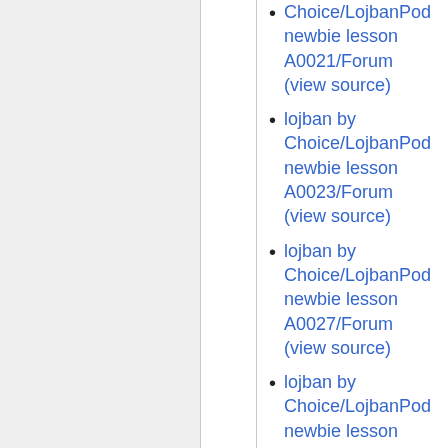lojban by Choice/LojbanPod newbie lesson A0021/Forum (view source)
lojban by Choice/LojbanPod newbie lesson A0023/Forum (view source)
lojban by Choice/LojbanPod newbie lesson A0027/Forum (view source)
lojban by Choice/LojbanPod newbie lesson A0030/Forum (view source)
lojban by Choice/LojbanPod newbie lesson …